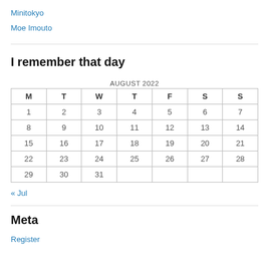Minitokyo
Moe Imouto
I remember that day
| M | T | W | T | F | S | S |
| --- | --- | --- | --- | --- | --- | --- |
| 1 | 2 | 3 | 4 | 5 | 6 | 7 |
| 8 | 9 | 10 | 11 | 12 | 13 | 14 |
| 15 | 16 | 17 | 18 | 19 | 20 | 21 |
| 22 | 23 | 24 | 25 | 26 | 27 | 28 |
| 29 | 30 | 31 |  |  |  |  |
« Jul
Meta
Register